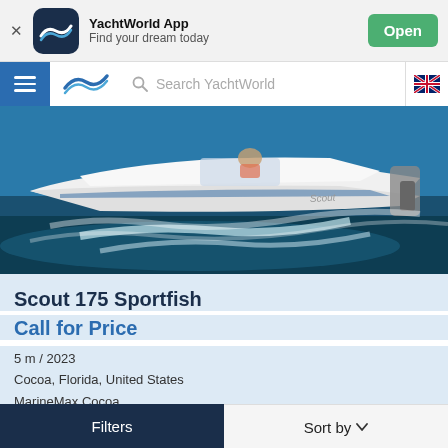[Figure (screenshot): App banner for YachtWorld App with close button, app icon, name, tagline, and Open button]
YachtWorld App
Find your dream today
[Figure (screenshot): Navigation bar with hamburger menu, YachtWorld logo, search bar, and UK flag icon]
[Figure (photo): White speedboat (Scout 175 Sportfish) moving through water at speed, with wake behind it]
Scout 175 Sportfish
Call for Price
5 m / 2023
Cocoa, Florida, United States
MarineMax Cocoa
[Figure (logo): MarineMax logo in gray italic text]
Filters    Sort by